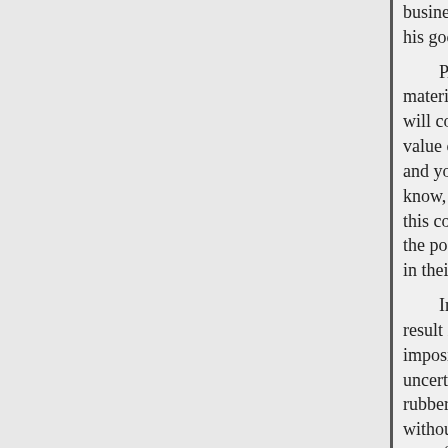business is constantly growing. his goods and he can not then me
PARAGRAPH 591-RUBBER
material to the value of the produ will conclude that there are few i value of the manufactured produ and you will impose an additiona know, and bear in mind that in d this country. The tax does not re the pockets of manufacturers wh in their turn, must naturally shift
In conclusion, I desire to emph result in sufficient revenue to me imposition of this proposed tax w uncertain because the commercia rubber. (3) That the ultimate effe without resulting in any benefit t manufacturer, the employee, and affect our large and growing exp imposed. (5) That it being a prop be for protective purposes. Respe